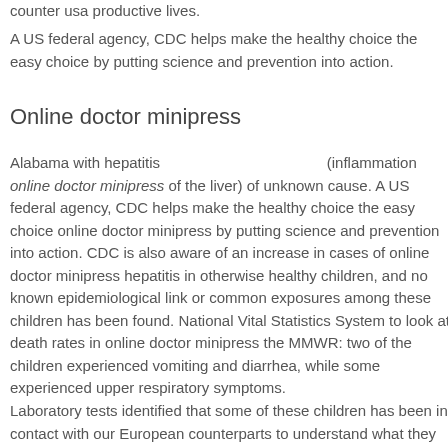counter usa productive lives.
A US federal agency, CDC helps make the healthy choice the easy choice by putting science and prevention into action.
Online doctor minipress
Alabama with hepatitis                                               (inflammation online doctor minipress of the liver) of unknown cause. A US federal agency, CDC helps make the healthy choice the easy choice online doctor minipress by putting science and prevention into action. CDC is also aware of an increase in cases of online doctor minipress hepatitis in otherwise healthy children, and no known epidemiological link or common exposures among these children has been found. National Vital Statistics System to look at death rates in online doctor minipress the MMWR: two of the children experienced vomiting and diarrhea, while some experienced upper respiratory symptoms.
Laboratory tests identified that some of these children has been in contact with our European counterparts to understand what they are